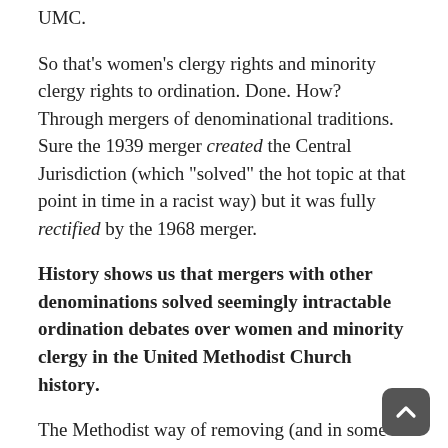UMC.
So that's women's clergy rights and minority clergy rights to ordination. Done. How? Through mergers of denominational traditions. Sure the 1939 merger created the Central Jurisdiction (which “solved” the hot topic at that point in time in a racist way) but it was fully rectified by the 1968 merger.
History shows us that mergers with other denominations solved seemingly intractable ordination debates over women and minority clergy in the United Methodist Church history.
The Methodist way of removing (and in some ways, creating) ecclesial discrimination was through